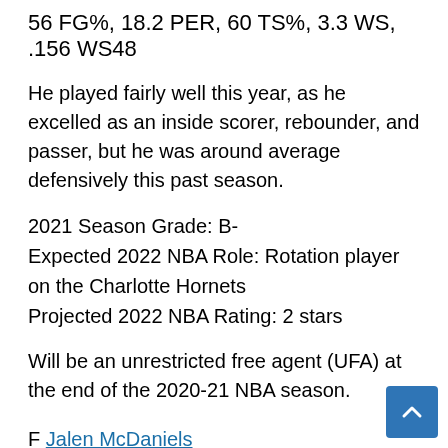56 FG%, 18.2 PER, 60 TS%, 3.3 WS, .156 WS48
He played fairly well this year, as he excelled as an inside scorer, rebounder, and passer, but he was around average defensively this past season.
2021 Season Grade: B-
Expected 2022 NBA Role: Rotation player on the Charlotte Hornets
Projected 2022 NBA Rating: 2 stars
Will be an unrestricted free agent (UFA) at the end of the 2020-21 NBA season.
F Jalen McDaniels
2021 (CHO): 47 GP, 7.1 PPG, 3.6 RPG, 1.1 APG